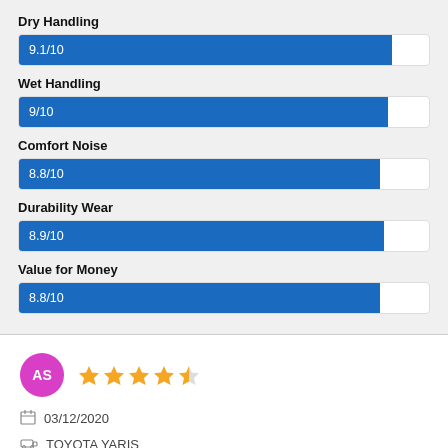Dry Handling
[Figure (bar-chart): Dry Handling]
Wet Handling
[Figure (bar-chart): Wet Handling]
Comfort Noise
[Figure (bar-chart): Comfort Noise]
Durability Wear
[Figure (bar-chart): Durability Wear]
Value for Money
[Figure (bar-chart): Value for Money]
AS — 03/12/2020 — TOYOTA YARIS — 4.5 stars